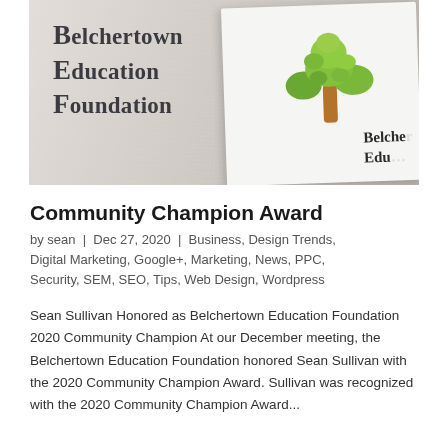[Figure (photo): A white fabric item with 'Belchertown Education Foundation' text stitched on it, alongside a paper/card showing a tree logo and partial text 'Belcher Edu...']
Community Champion Award
by sean | Dec 27, 2020 | Business, Design Trends, Digital Marketing, Google+, Marketing, News, PPC, Security, SEM, SEO, Tips, Web Design, Wordpress
Sean Sullivan Honored as Belchertown Education Foundation 2020 Community Champion At our December meeting, the Belchertown Education Foundation honored Sean Sullivan with the 2020 Community Champion Award. Sullivan was recognized with the 2020 Community Champion Award...